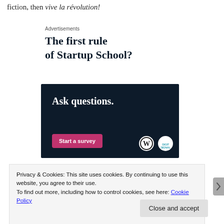fiction, then vive la révolution!
Advertisements
The first rule of Startup School?
[Figure (infographic): Dark navy advertisement banner with white bold text 'Ask questions.' and a pink 'Start a survey' button, plus WordPress and Brand Signal logos in bottom right.]
Privacy & Cookies: This site uses cookies. By continuing to use this website, you agree to their use.
To find out more, including how to control cookies, see here: Cookie Policy
Close and accept